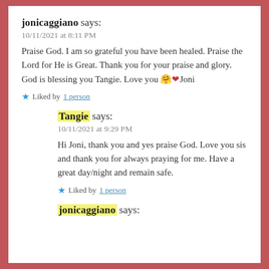jonicaggiano says:
10/11/2021 at 8:11 PM
Praise God. I am so grateful you have been healed. Praise the Lord for He is Great. Thank you for your praise and glory. God is blessing you Tangie. Love you 🤗❤️Joni
★ Liked by 1 person
Tangie says:
10/11/2021 at 9:29 PM
Hi Joni, thank you and yes praise God. Love you sis and thank you for always praying for me. Have a great day/night and remain safe.
★ Liked by 1 person
jonicaggiano says: